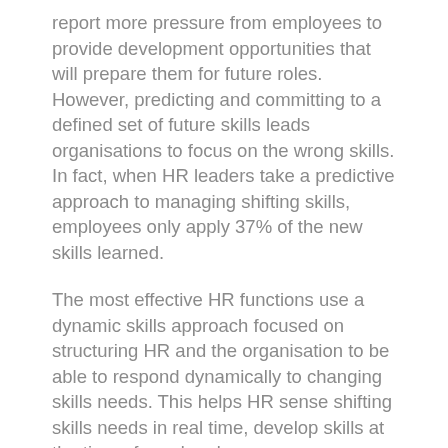report more pressure from employees to provide development opportunities that will prepare them for future roles. However, predicting and committing to a defined set of future skills leads organisations to focus on the wrong skills. In fact, when HR leaders take a predictive approach to managing shifting skills, employees only apply 37% of the new skills learned.
The most effective HR functions use a dynamic skills approach focused on structuring HR and the organisation to be able to respond dynamically to changing skills needs. This helps HR sense shifting skills needs in real time, develop skills at the time of need and empowers employees to make informed skills decisions dynamically. A dynamic skills approach anticipates skill shifts as they are occurring (rather than predicting the future) and adapts to those skills in an iterative, course-corrective way. To sense shifting skills, organisations